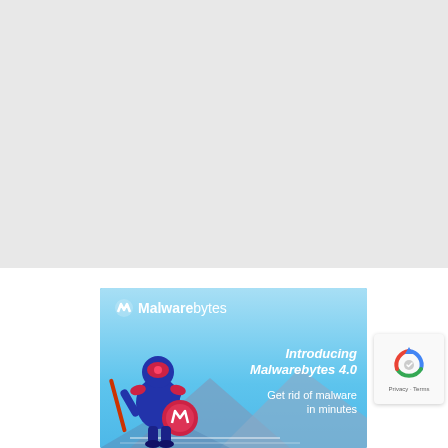[Figure (screenshot): Top gray blank area, likely a webpage content area above the fold]
[Figure (illustration): Malwarebytes 4.0 advertisement banner with blue sky background, mountain silhouettes, animated robot warrior character holding a shield and lance. Text: Malwarebytes logo, 'Introducing Malwarebytes 4.0', 'Get rid of malware in minutes']
[Figure (logo): reCAPTCHA badge with spinning arrows logo and Privacy - Terms text]